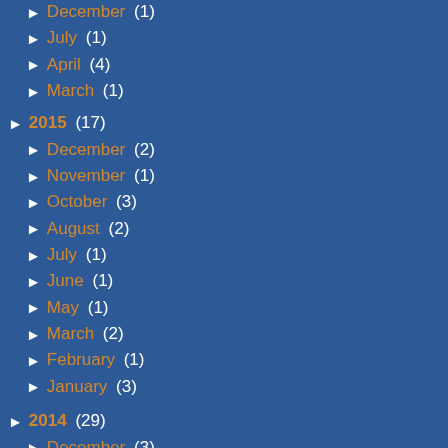► December (1)
► July (1)
► April (4)
► March (1)
► 2015 (17)
► December (2)
► November (1)
► October (3)
► August (2)
► July (1)
► June (1)
► May (1)
► March (2)
► February (1)
► January (3)
► 2014 (29)
► December (3)
► November (1)
► October (3)